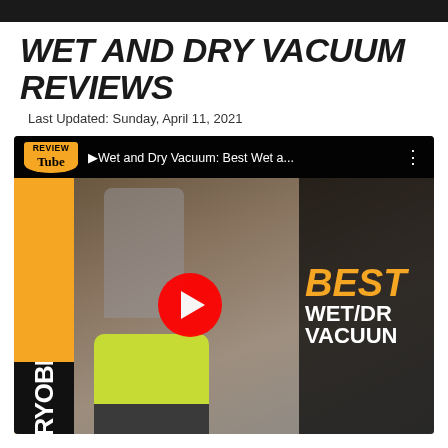WET AND DRY VACUUM REVIEWS
Last Updated: Sunday, April 11, 2021
[Figure (screenshot): YouTube video thumbnail for 'Wet and Dry Vacuum: Best Wet a...' showing a person using a Ryobi cordless wet/dry vacuum in a workshop, with BEST WET/DRY VACUUM text overlay and a YouTube play button. ReviewTube badge in top-left corner.]